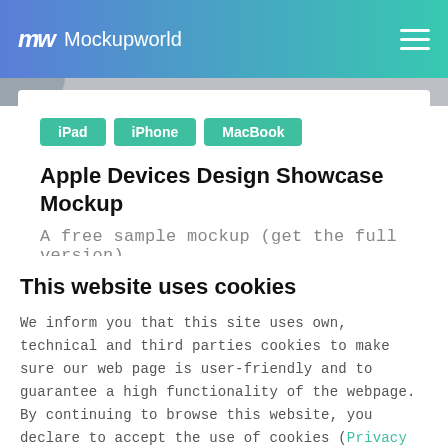Mockupworld
[Figure (screenshot): Partial image strip at top of content card, showing a blurred Apple devices mockup]
iPad
iPhone
MacBook
Apple Devices Design Showcase Mockup
A free sample mockup (get the full version)
This website uses cookies
We inform you that this site uses own, technical and third parties cookies to make sure our web page is user-friendly and to guarantee a high functionality of the webpage. By continuing to browse this website, you declare to accept the use of cookies (Privacy notice).
OK